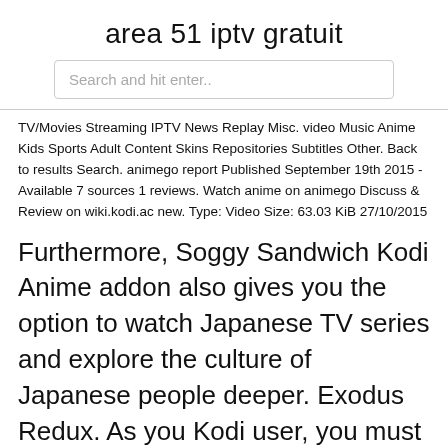area 51 iptv gratuit
Search and hit enter..
TV/Movies Streaming IPTV News Replay Misc. video Music Anime Kids Sports Adult Content Skins Repositories Subtitles Other. Back to results Search. animego report Published September 19th 2015 - Available 7 sources 1 reviews. Watch anime on animego Discuss & Review on wiki.kodi.ac new. Type: Video Size: 63.03 KiB 27/10/2015
Furthermore, Soggy Sandwich Kodi Anime addon also gives you the option to watch Japanese TV series and explore the culture of Japanese people deeper. Exodus Redux. As you Kodi user, you must be fully familiar with the name of Exodus. The Exodus Redux Kodi